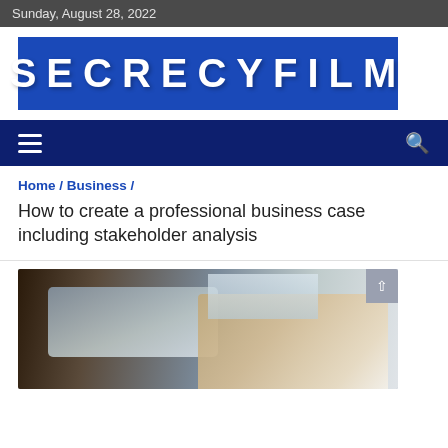Sunday, August 28, 2022
[Figure (logo): SECRECYFILM logo — white bold text on blue background]
Home / Business / How to create a professional business case including stakeholder analysis
How to create a professional business case including stakeholder analysis
[Figure (photo): Person working on a laptop with a pen in hand, business setting]